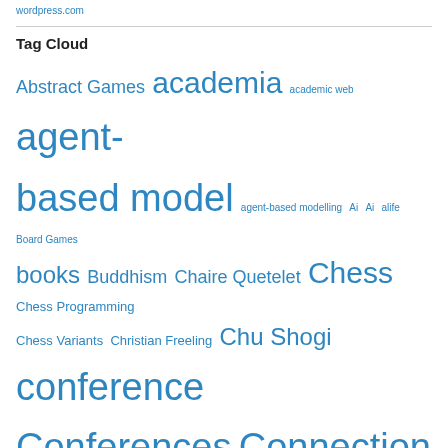wordpress.com
Tag Cloud
Abstract Games academia academic web agent-based model agent-based modelling Ai Ai alife Board Games books Buddhism Chaire Quetelet Chess Chess Programming Chess Variants Christian Freeling Chu Shogi conference Conferences Connection Games Courier-Spiel Courier Chess Dai Dai Shogi Dai Shogi Daniel Courgeau Data Protection Demographic Research demography diversions eastern philosophy enactivism Exo-Hex fixed-term contracts free tunes Game Development Game of Y